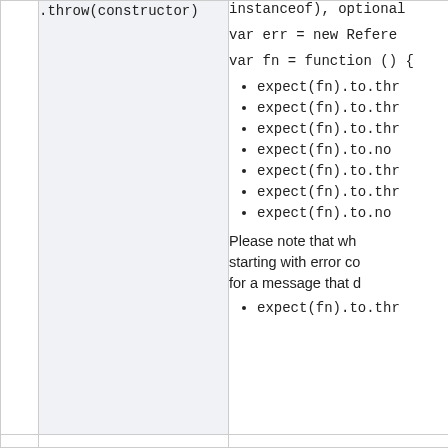| Method | Description/Examples |
| --- | --- |
| .throw(constructor) | instanceof), optional

var err = new Refere

var fn = function () {
• expect(fn).to.thr
• expect(fn).to.thr
• expect(fn).to.thr
• expect(fn).to.no
• expect(fn).to.thr
• expect(fn).to.thr
• expect(fn).to.no

Please note that wh
starting with error co
for a message that d
• expect(fn).to.thr |